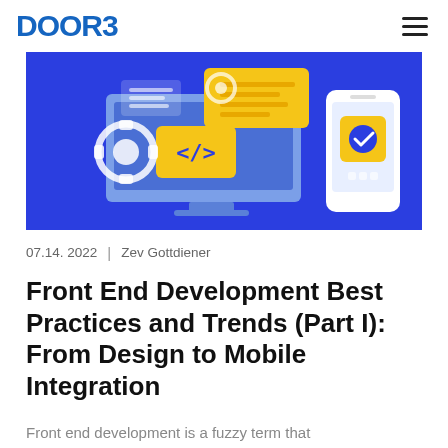DOOR3
[Figure (illustration): Blue banner illustration showing a desktop monitor with code brackets, a mobile phone with checkmark, gear icons, and yellow UI panels representing front-end development concepts]
07.14. 2022  |  Zev Gottdiener
Front End Development Best Practices and Trends (Part I): From Design to Mobile Integration
Front end development is a fuzzy term that